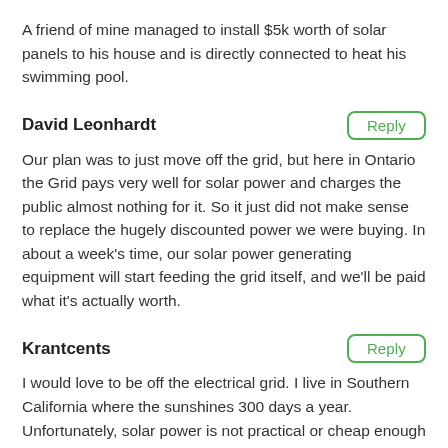A friend of mine managed to install $5k worth of solar panels to his house and is directly connected to heat his swimming pool.
David Leonhardt
Our plan was to just move off the grid, but here in Ontario the Grid pays very well for solar power and charges the public almost nothing for it. So it just did not make sense to replace the hugely discounted power we were buying. In about a week's time, our solar power generating equipment will start feeding the grid itself, and we'll be paid what it's actually worth.
Krantcents
I would love to be off the electrical grid. I live in Southern California where the sunshines 300 days a year. Unfortunately, solar power is not practical or cheap enough